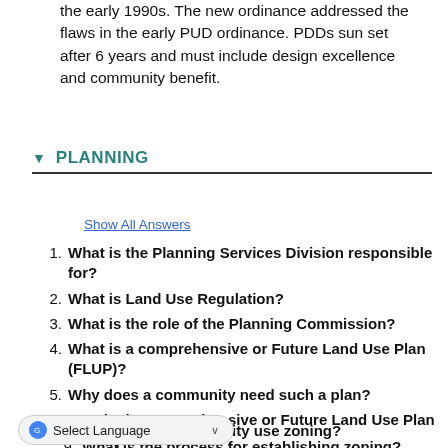the early 1990s. The new ordinance addressed the flaws in the early PUD ordinance. PDDs sun set after 6 years and must include design excellence and community benefit.
▼ PLANNING
Show All Answers
1. What is the Planning Services Division responsible for?
2. What is Land Use Regulation?
3. What is the role of the Planning Commission?
4. What is a comprehensive or Future Land Use Plan (FLUP)?
5. Why does a community need such a plan?
6. How is the comprehensive or Future Land Use Plan developed?
7. [Select Language] g?
8. Why does a community use zoning?
9. What is the process for establishing zoning?